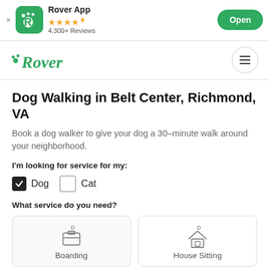Rover App — 4,300+ Reviews — Open
[Figure (logo): Rover logo with paw print icon in green]
Dog Walking in Belt Center, Richmond, VA
Book a dog walker to give your dog a 30-minute walk around your neighborhood.
I'm looking for service for my:
Dog (checked), Cat (unchecked)
What service do you need?
Boarding, House Sitting